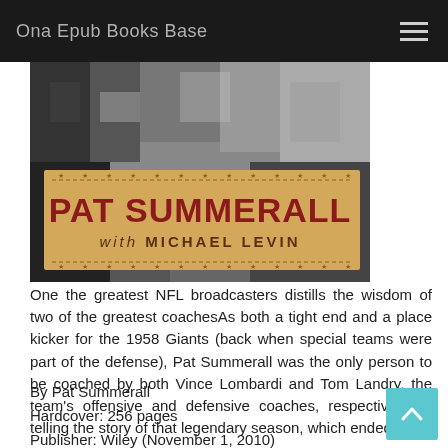Ona Epub Books Base
[Figure (photo): Book cover image for 'Pat Summerall with Michael Levin' — black and white football crowd photo background with a tan/beige ticket-style banner overlay showing the title text in dark red bold lettering.]
One the greatest NFL broadcasters distills the wisdom of two of the greatest coachesAs both a tight end and a place kicker for the 1958 Giants (back when special teams were part of the defense), Pat Summerall was the only person to be coached by both Vince Lombardi and Tom Landry, the team's offensive and defensive coaches, respectively. In telling the story of that legendary season, which ended w...
By Pat Summerall
Hardcover: 256 pages
Publisher: Wiley (November 1, 2010)